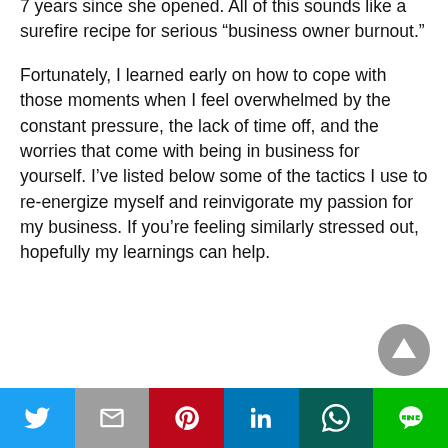7 years since she opened. All of this sounds like a surefire recipe for serious “business owner burnout.”
Fortunately, I learned early on how to cope with those moments when I feel overwhelmed by the constant pressure, the lack of time off, and the worries that come with being in business for yourself. I’ve listed below some of the tactics I use to re-energize myself and reinvigorate my passion for my business. If you’re feeling similarly stressed out, hopefully my learnings can help.
[Figure (other): Social share bar with Twitter, Gmail, Pinterest, LinkedIn, WhatsApp, and LINE buttons]